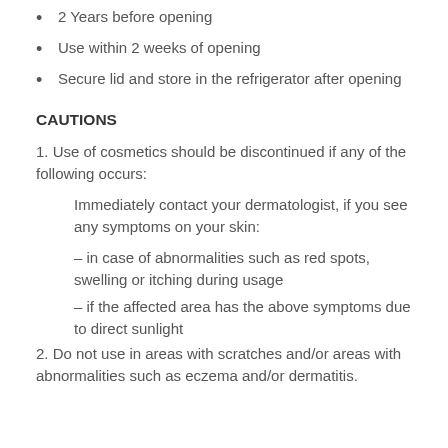2 Years before opening
Use within 2 weeks of opening
Secure lid and store in the refrigerator after opening
CAUTIONS
1. Use of cosmetics should be discontinued if any of the following occurs:
Immediately contact your dermatologist, if you see any symptoms on your skin:
– in case of abnormalities such as red spots, swelling or itching during usage
– if the affected area has the above symptoms due to direct sunlight
2. Do not use in areas with scratches and/or areas with abnormalities such as eczema and/or dermatitis.